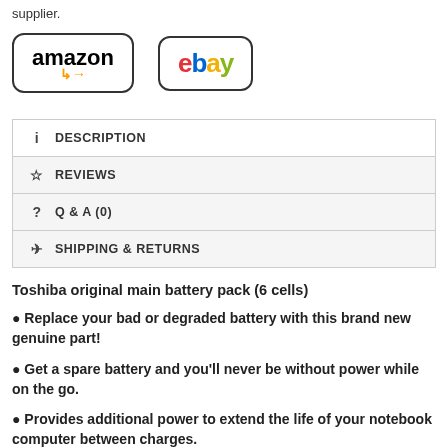supplier.
[Figure (logo): Amazon logo with orange arrow and eBay logo with multicolored letters, each in a rounded rectangle border]
| ℹ DESCRIPTION |
| ☆ REVIEWS |
| ? Q & A (0) |
| ✈ SHIPPING & RETURNS |
Toshiba original main battery pack (6 cells)
Replace your bad or degraded battery with this brand new genuine part!
Get a spare battery and you'll never be without power while on the go.
Provides additional power to extend the life of your notebook computer between charges.